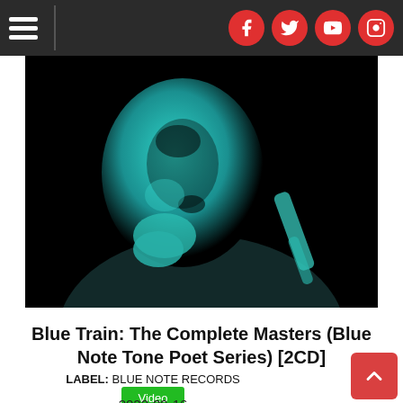Navigation bar with hamburger menu and social icons (Facebook, Twitter, YouTube, Instagram)
[Figure (photo): Black and white / teal-tinted close-up portrait of John Coltrane holding a saxophone, looking downward with hand near chin. High contrast artistic photography.]
Blue Train: The Complete Masters (Blue Note Tone Poet Series) [2CD]
LABEL: BLUE NOTE RECORDS
Video
2022-09-16